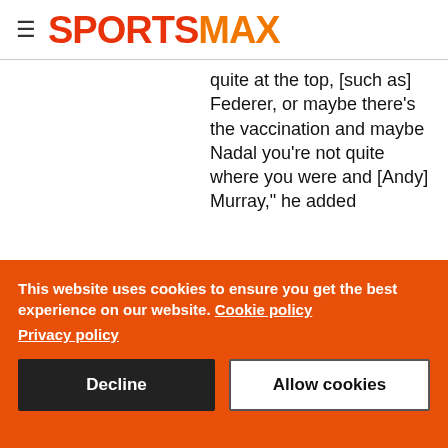SPORTSMAX
quite at the top, [such as] Federer, or maybe there's the vaccination and maybe Nadal you're not quite where you were and [Andy] Murray," he added
This website uses cookies to ensure you get the best experience on our website. Cookie policy
Privacy policy
Decline
Allow cookies